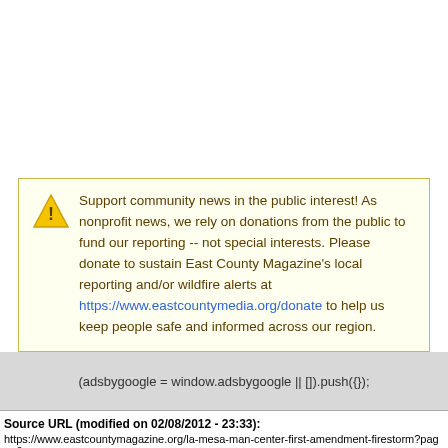Support community news in the public interest! As nonprofit news, we rely on donations from the public to fund our reporting -- not special interests. Please donate to sustain East County Magazine's local reporting and/or wildfire alerts at https://www.eastcountymedia.org/donate to help us keep people safe and informed across our region.
(adsbygoogle = window.adsbygoogle || []).push({});
Source URL (modified on 02/08/2012 - 23:33):
https://www.eastcountymagazine.org/la-mesa-man-center-first-amendment-firestorm?page=0